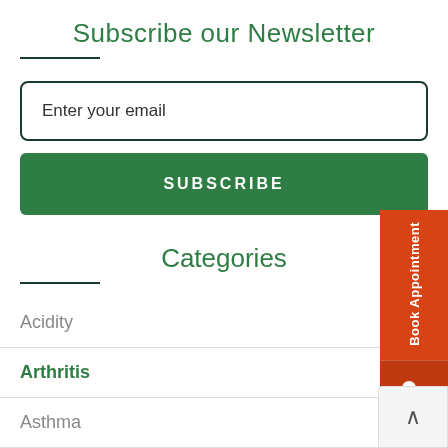Subscribe our Newsletter
Enter your email
SUBSCRIBE
Categories
Acidity
Arthritis
Asthma
Anxiety
Book Appointment